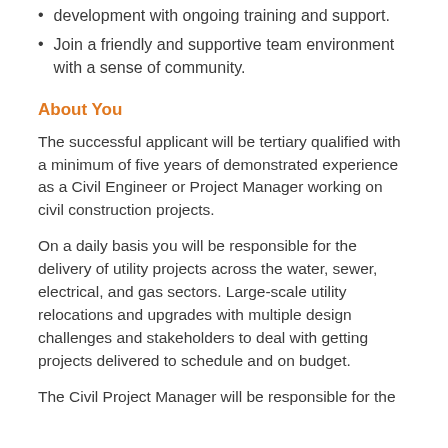Opportunities for progression and professional development with ongoing training and support.
Join a friendly and supportive team environment with a sense of community.
About You
The successful applicant will be tertiary qualified with a minimum of five years of demonstrated experience as a Civil Engineer or Project Manager working on civil construction projects.
On a daily basis you will be responsible for the delivery of utility projects across the water, sewer, electrical, and gas sectors. Large-scale utility relocations and upgrades with multiple design challenges and stakeholders to deal with getting projects delivered to schedule and on budget.
The Civil Project Manager will be responsible for the